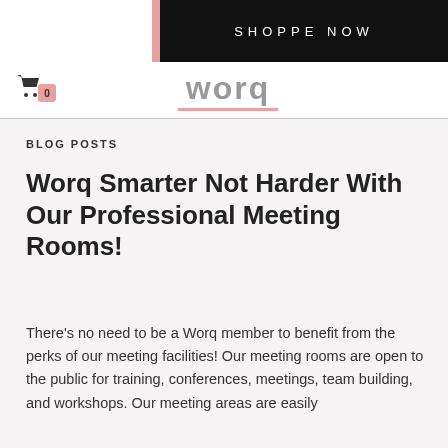SHOPPE NOW
[Figure (logo): Worq logo in grey text with pink underline]
BLOG POSTS
Worq Smarter Not Harder With Our Professional Meeting Rooms!
There's no need to be a Worq member to benefit from the perks of our meeting facilities! Our meeting rooms are open to the public for training, conferences, meetings, team building, and workshops. Our meeting areas are easily